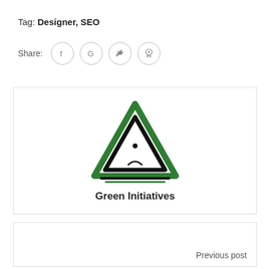Tag: Designer, SEO
Share:
[Figure (logo): Green Initiatives logo — a stylized triangle made of double green and black lines with a dot inside, above the text 'Green Initiatives']
Previous post